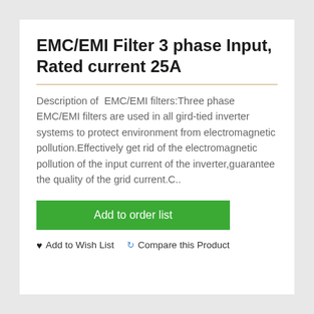EMC/EMI Filter 3 phase Input, Rated current 25A
Description of  EMC/EMI filters:Three phase EMC/EMI filters are used in all gird-tied inverter systems to protect environment from electromagnetic pollution.Effectively get rid of the electromagnetic pollution of the input current of the inverter,guarantee the quality of the grid current.C..
Add to order list
Add to Wish List
Compare this Product